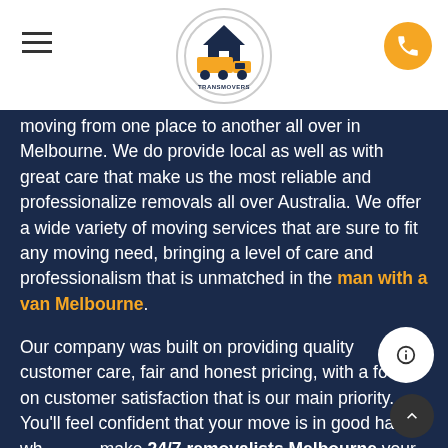[Figure (logo): Transmovers logo — a yellow truck with a house icon inside a circle]
moving from one place to another all over in Melbourne. We do provide local as well as with great care that make us the most reliable and professionalize removals all over Australia. We offer a wide variety of moving services that are sure to fit any moving need, bringing a level of care and professionalism that is unmatched in the man with a van Melbourne.
Our company was built on providing quality customer care, fair and honest pricing, with a focus on customer satisfaction that is our main priority. You'll feel confident that your move is in good hands whe make 24/7 removalists Melbourne your resi mover. There is a wide range of personalized pa... from moving a big house anywhere in Melbourne just need a basic man and van service to a...